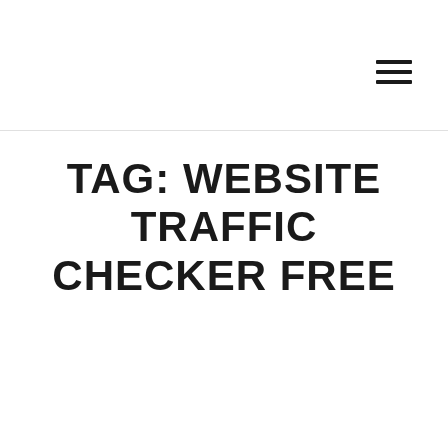TAG: WEBSITE TRAFFIC CHECKER FREE